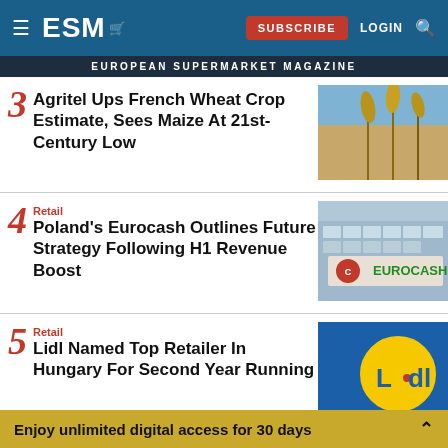ESM — European Supermarket Magazine
EUROPEAN SUPERMARKET MAGAZINE
Agritel Ups French Wheat Crop Estimate, Sees Maize At 21st-Century Low
Poland's Eurocash Outlines Future Strategy Following H1 Revenue Boost
Lidl Named Top Retailer In Hungary For Second Year Running
Enjoy unlimited digital access for 30 days